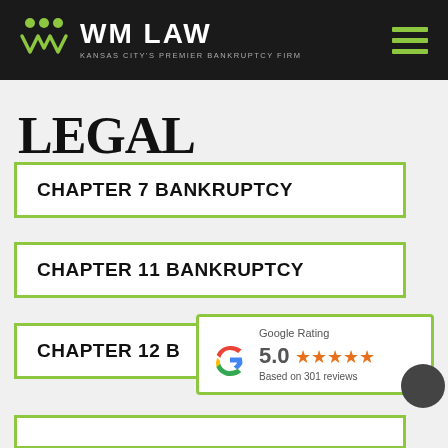[Figure (logo): WM Law logo with green icon and text, Kansas City's Premier Bankruptcy Firm tagline, hamburger menu icon on right]
LEGAL SERVICES
CHAPTER 7 BANKRUPTCY
CHAPTER 11 BANKRUPTCY
CHAPTER 12 B...
[Figure (infographic): Google Rating overlay showing 5.0 stars based on 301 reviews]